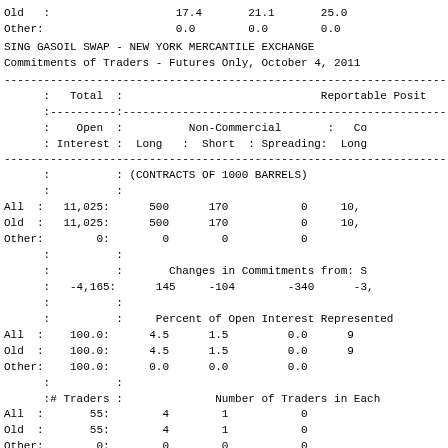| Old : | 17.4 | 21.1 | 25.0 |
| Other: | 0.0 | 0.0 | 0.0 |
SING GASOIL SWAP - NEW YORK MERCANTILE EXCHANGE
Commitments of Traders - Futures Only, October 4, 2011
| : Total : |  | Reportable Posit | : Open : | Non-Commercial : | Co | : Interest : | Long : Short : Spreading: | Long |
| --- | --- | --- | --- | --- | --- | --- | --- | --- |
|  | (CONTRACTS OF 1000 BARRELS) |  |
| All : | 11,025: | 500 | 170 | 0 | 10, |
| Old : | 11,025: | 500 | 170 | 0 | 10, |
| Other: | 0: | 0 | 0 | 0 |
|  |  | Changes in Commitments from: S |
|  | -4,165: | 145 | -104 | -340 | -3, |
|  |  | Percent of Open Interest Represented |
| All : | 100.0: | 4.5 | 1.5 | 0.0 | 9 |
| Old : | 100.0: | 4.5 | 1.5 | 0.0 | 9 |
| Other: | 100.0: | 0.0 | 0.0 | 0.0 |
| :# Traders : |  | Number of Traders in Each |
| All : | 55: | 4 | 1 | 0 |
| Old : | 55: | 4 | 1 | 0 |
| Other: | 0: | 0 | 0 | 0 |
|  | Percent of Open Interest Held by the |